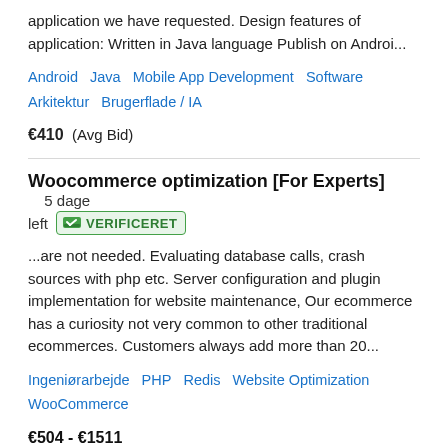application we have requested. Design features of application: Written in Java language Publish on Androi...
Android   Java   Mobile App Development   Software Arkitektur   Brugerflade / IA
€410  (Avg Bid)
Woocommerce optimization [For Experts]   5 dage left   VERIFICERET
...are not needed. Evaluating database calls, crash sources with php etc. Server configuration and plugin implementation for website maintenance, Our ecommerce has a curiosity not very common to other traditional ecommerces. Customers always add more than 20...
Ingeniørarbejde   PHP   Redis   Website Optimization   WooCommerce
€504 - €1511